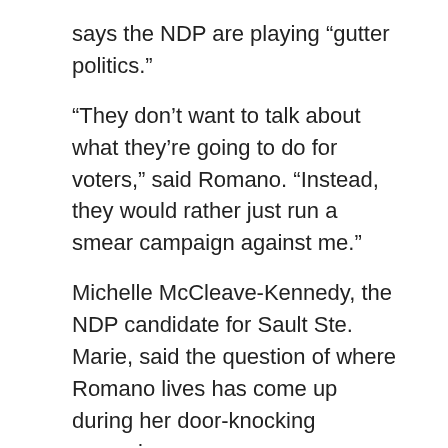says the NDP are playing “gutter politics.”
“They don’t want to talk about what they’re going to do for voters,” said Romano. “Instead, they would rather just run a smear campaign against me.”
Michelle McCleave-Kennedy, the NDP candidate for Sault Ste. Marie, said the question of where Romano lives has come up during her door-knocking campaign.
“I’m hearing from many folks at the doors, (and) they tell me that he doesn’t live here,” she said.
“Whether that’s a perception that they have or it’s something that they believe because his wife had a position in Sudbury as a judge, I’m not